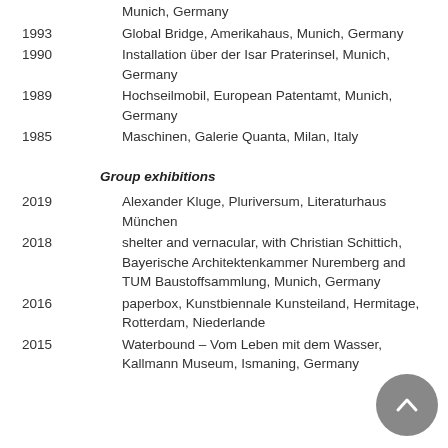Munich, Germany
1993   Global Bridge, Amerikahaus, Munich, Germany
1990   Installation über der Isar Praterinsel, Munich, Germany
1989   Hochseilmobil, European Patentamt, Munich, Germany
1985   Maschinen, Galerie Quanta, Milan, Italy
Group exhibitions
2019   Alexander Kluge, Pluriversum, Literaturhaus München
2018   shelter and vernacular, with Christian Schittich, Bayerische Architektenkammer Nuremberg and TUM Baustoffsammlung, Munich, Germany
2016   paperbox, Kunstbiennale Kunsteiland, Hermitage, Rotterdam, Niederlande
2015   Waterbound – Vom Leben mit dem Wasser, Kallmann Museum, Ismaning, Germany